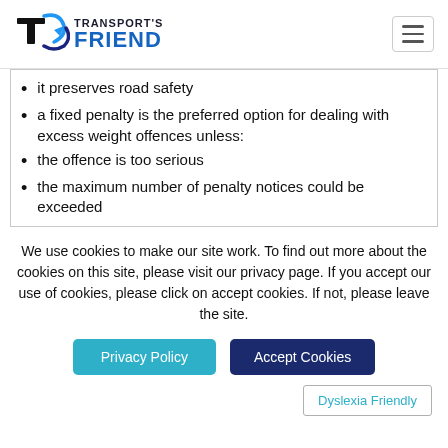Transport's Friend
it preserves road safety
a fixed penalty is the preferred option for dealing with excess weight offences unless:
the offence is too serious
the maximum number of penalty notices could be exceeded
We use cookies to make our site work. To find out more about the cookies on this site, please visit our privacy page. If you accept our use of cookies, please click on accept cookies. If not, please leave the site.